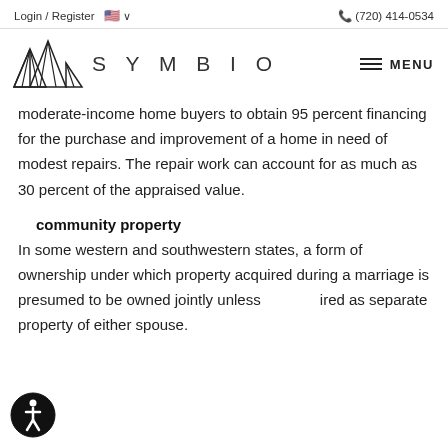Login / Register   🇺🇸 ∨   ☎ (720) 414-0534
[Figure (logo): Symbio real estate logo with geometric mountain triangle design and the word SYMBIO in spaced letters]
moderate-income home buyers to obtain 95 percent financing for the purchase and improvement of a home in need of modest repairs. The repair work can account for as much as 30 percent of the appraised value.
community property
In some western and southwestern states, a form of ownership under which property acquired during a marriage is presumed to be owned jointly unless acquired as separate property of either spouse.